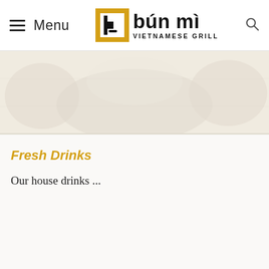≡ Menu | bún mì VIETNAMESE GRILL
[Figure (photo): Hero banner image with faint decorative background pattern in warm beige/cream tones]
Fresh Drinks
Our house drinks ...